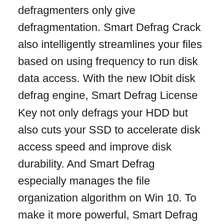defragmenters only give defragmentation. Smart Defrag Crack also intelligently streamlines your files based on using frequency to run disk data access. With the new IObit disk defrag engine, Smart Defrag License Key not only defrags your HDD but also cuts your SSD to accelerate disk access speed and improve disk durability. And Smart Defrag especially manages the file organization algorithm on Win 10. To make it more powerful, Smart Defrag also delivers many other useful features.
Smart Defrag Crack There you may find your computers got the slow cause of Disk Fragmentation. With its increase, multi Threading defrags engine, and advanced defrag speed it helps you a better solution for quick data access and excellent disk performance. The users can also